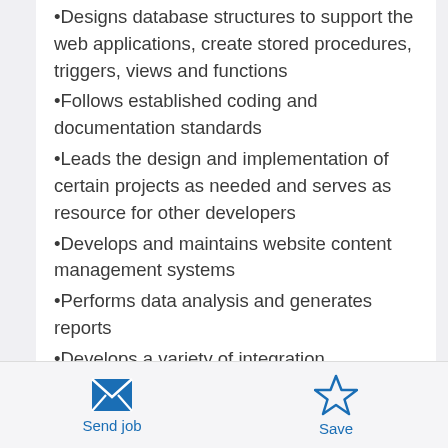•Designs database structures to support the web applications, create stored procedures, triggers, views and functions
•Follows established coding and documentation standards
•Leads the design and implementation of certain projects as needed and serves as resource for other developers
•Develops and maintains website content management systems
•Performs data analysis and generates reports
•Develops a variety of integration techniques
•Designs and suggests new coding standards and
Send job   Save